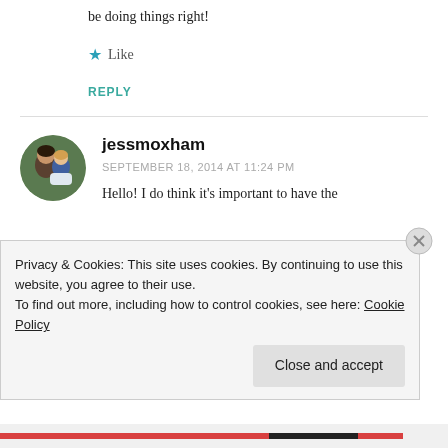be doing things right!
Like
REPLY
[Figure (photo): Circular avatar photo of jessmoxham showing two people]
jessmoxham
SEPTEMBER 18, 2014 AT 11:24 PM
Hello! I do think it’s important to have the
Privacy & Cookies: This site uses cookies. By continuing to use this website, you agree to their use.
To find out more, including how to control cookies, see here: Cookie Policy
Close and accept